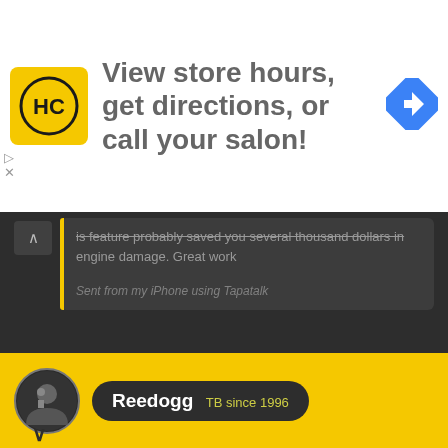[Figure (screenshot): Advertisement banner: HC logo (black H and C letters in yellow circle), text 'View store hours, get directions, or call your salon!' and a blue navigation/directions diamond icon on the right. Small play and X controls on left side.]
is feature probably saved you several thousand dollars in engine damage. Great work
Sent from my iPhone using Tapatalk
There is not a doubt in my mind that it did. The ECU paid for itself the first weekend out.
bison
Reedogg  TB since 1996